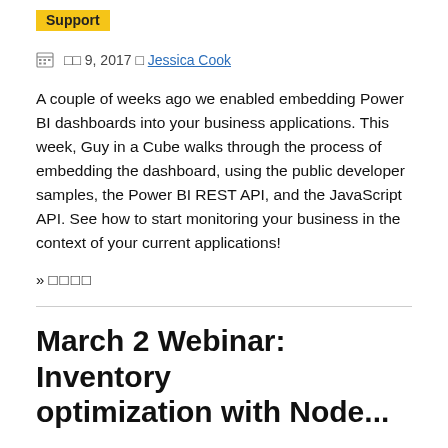Support
□□ 9, 2017 □ Jessica Cook
A couple of weeks ago we enabled embedding Power BI dashboards into your business applications. This week, Guy in a Cube walks through the process of embedding the dashboard, using the public developer samples, the Power BI REST API, and the JavaScript API. See how to start monitoring your business in the context of your current applications!
» □□□□
March 2 Webinar: Inventory optimization with Node...